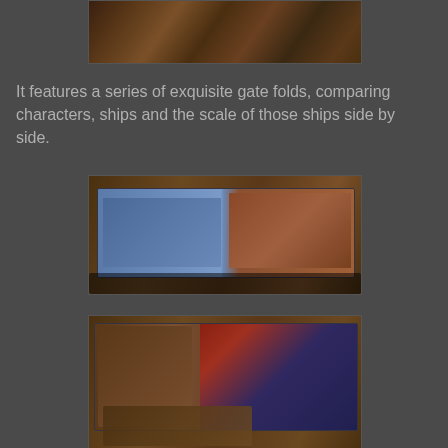[Figure (photo): Partial top photo of a wooden surface, cropped at top of page]
It features a series of exquisite gate folds, comparing characters, ships and the scale of those ships side by side.
[Figure (photo): Photo of an open book/album showing gate fold pages with Star Wars ships including an AT-AT walker and various spacecraft, laid on a wooden table]
[Figure (photo): Photo of an open book showing Star Wars characters including what appears to be Chewbacca and various other characters on gate fold pages, on a wooden surface]